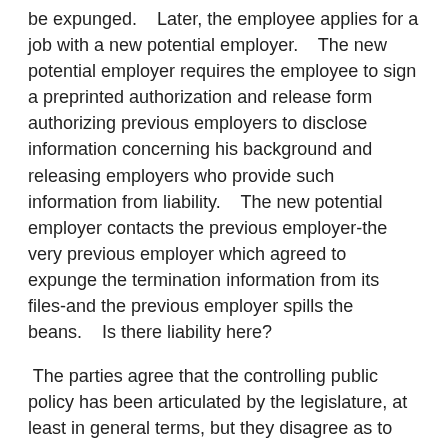be expunged.    Later, the employee applies for a job with a new potential employer.    The new potential employer requires the employee to sign a preprinted authorization and release form authorizing previous employers to disclose information concerning his background and releasing employers who provide such information from liability.    The new potential employer contacts the previous employer-the very previous employer which agreed to expunge the termination information from its files-and the previous employer spills the beans.    Is there liability here?
The parties agree that the controlling public policy has been articulated by the legislature, at least in general terms, but they disagree as to how that policy is to be applied to the documents that they have signed.    As will be seen, there is indeed devil in the details, but the controlling legislation goes a long way towards solving the problem.    It is necessary to begin with the facts.